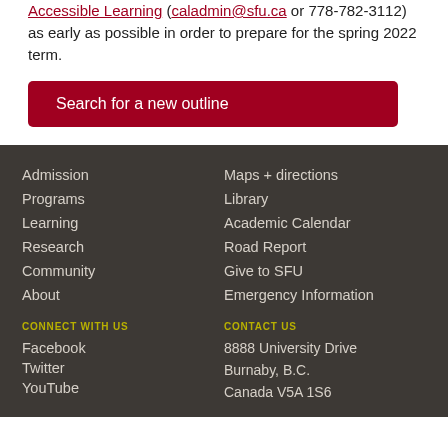Accessible Learning (caladmin@sfu.ca or 778-782-3112) as early as possible in order to prepare for the spring 2022 term.
Search for a new outline
Admission
Programs
Learning
Research
Community
About
Maps + directions
Library
Academic Calendar
Road Report
Give to SFU
Emergency Information
CONNECT WITH US
Facebook
Twitter
YouTube
CONTACT US
8888 University Drive
Burnaby, B.C.
Canada V5A 1S6